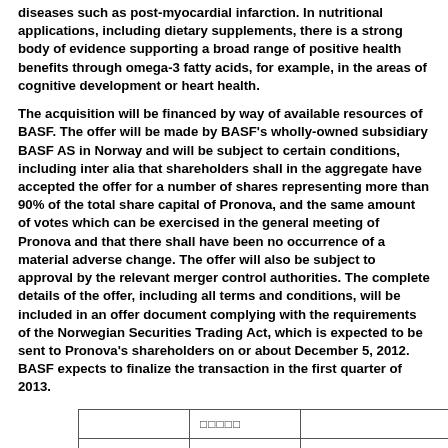diseases such as post-myocardial infarction. In nutritional applications, including dietary supplements, there is a strong body of evidence supporting a broad range of positive health benefits through omega-3 fatty acids, for example, in the areas of cognitive development or heart health.
The acquisition will be financed by way of available resources of BASF. The offer will be made by BASF’s wholly-owned subsidiary BASF AS in Norway and will be subject to certain conditions, including inter alia that shareholders shall in the aggregate have accepted the offer for a number of shares representing more than 90% of the total share capital of Pronova, and the same amount of votes which can be exercised in the general meeting of Pronova and that there shall have been no occurrence of a material adverse change. The offer will also be subject to approval by the relevant merger control authorities. The complete details of the offer, including all terms and conditions, will be included in an offer document complying with the requirements of the Norwegian Securities Trading Act, which is expected to be sent to Pronova’s shareholders on or about December 5, 2012. BASF expects to finalize the transaction in the first quarter of 2013.
|  | □□□□□ |  |
| --- | --- | --- |
|  |  |  |